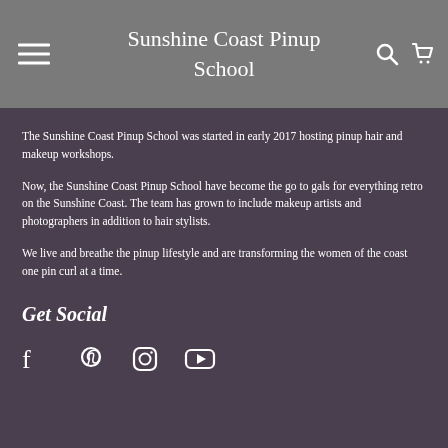Sunshine Coast Pinup School
The Sunshine Coast Pinup School was started in early 2017 hosting pinup hair and makeup workshops.
Now, the Sunshine Coast Pinup School have become the go to gals for everything retro on the Sunshine Coast. The team has grown to include makeup artists and photographers in addition to hair stylists.
We live and breathe the pinup lifestyle and are transforming the women of the coast one pin curl at a time.
Get Social
[Figure (other): Social media icons: Facebook, Pinterest, Instagram, YouTube]